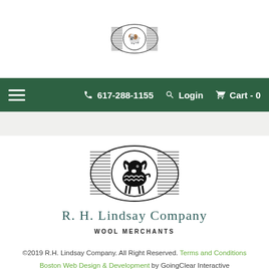[Figure (logo): R.H. Lindsay Company ram logo in oval with horizontal lines, black and white, small version in header]
☰  617-288-1155  🔍 Login  🛒 Cart - 0
[Figure (logo): R.H. Lindsay Company ram logo in oval with horizontal lines, black and white, large version in body]
R. H. LINDSAY COMPANY
WOOL MERCHANTS
©2019 R.H. Lindsay Company. All Right Reserved. Terms and Conditions Boston Web Design & Development by GoingClear Interactive